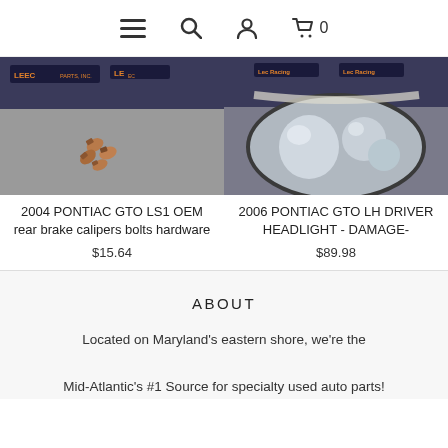Navigation bar with menu, search, account, and cart (0) icons
[Figure (photo): Photo of 2004 Pontiac GTO LS1 OEM rear brake caliper bolts hardware on a table, Lee Parts Inc. backdrop]
2004 PONTIAC GTO LS1 OEM rear brake calipers bolts hardware
$15.64
[Figure (photo): Photo of 2006 Pontiac GTO LH Driver Headlight with damage, Lee Racing backdrop]
2006 PONTIAC GTO LH DRIVER HEADLIGHT - DAMAGE-
$89.98
ABOUT
Located on Maryland's eastern shore, we're the Mid-Atlantic's #1 Source for specialty used auto parts!